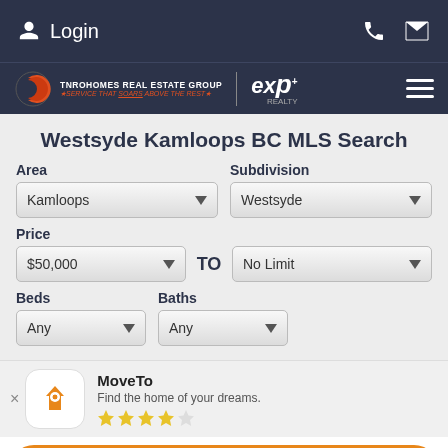Login
[Figure (logo): TNROHOMES Real Estate Group / eXp Realty logo with navigation hamburger menu]
Westsyde Kamloops BC MLS Search
Area: Kamloops | Subdivision: Westsyde
Price: $50,000 TO No Limit
Beds: Any | Baths: Any
MoveTo
Find the home of your dreams.
★★★★☆
Use App